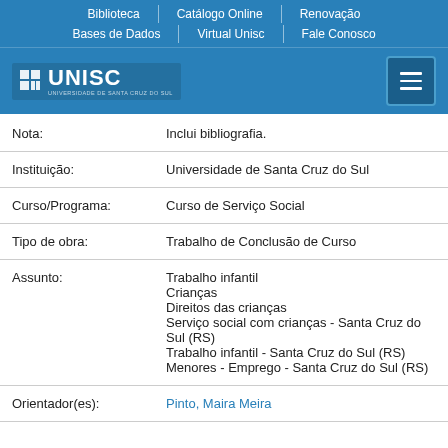Biblioteca | Catálogo Online | Renovação | Bases de Dados | Virtual Unisc | Fale Conosco
[Figure (logo): UNISC - Universidade de Santa Cruz do Sul logo with grid icon and hamburger menu button]
| Field | Value |
| --- | --- |
| Nota: | Inclui bibliografia. |
| Instituição: | Universidade de Santa Cruz do Sul |
| Curso/Programa: | Curso de Serviço Social |
| Tipo de obra: | Trabalho de Conclusão de Curso |
| Assunto: | Trabalho infantil
Crianças
Direitos das crianças
Serviço social com crianças - Santa Cruz do Sul (RS)
Trabalho infantil - Santa Cruz do Sul (RS)
Menores - Emprego - Santa Cruz do Sul (RS) |
| Orientador(es): | Pinto, Maira Meira |